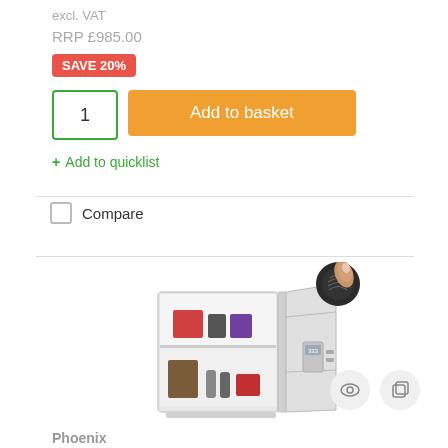excl. VAT
RRP £985.00
SAVE 20%
1
Add to basket
+ Add to quicklist
Compare
[Figure (photo): An open white fire safe with two interior shelves containing various items, shown with a hand pressing a fingerprint scanner, against a white background.]
Phoenix